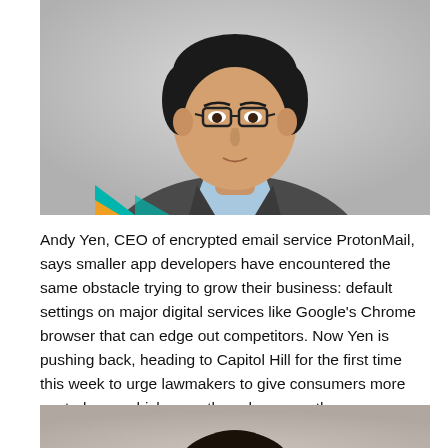[Figure (photo): Headshot of Andy Yen, CEO of ProtonMail, wearing glasses and a grey suit jacket over a light blue collared shirt, photographed against a light grey background. A colorful teal and orange geometric shape is partially visible in the lower left.]
Andy Yen, CEO of encrypted email service ProtonMail, says smaller app developers have encountered the same obstacle trying to grow their business: default settings on major digital services like Google's Chrome browser that can edge out competitors. Now Yen is pushing back, heading to Capitol Hill for the first time this week to urge lawmakers to give consumers more control over which apps they choose as they move forward with their sweeping antitrust push.
[Figure (photo): Partial headshot of a second person, showing the top of dark hair, partially cropped at the bottom of the page.]